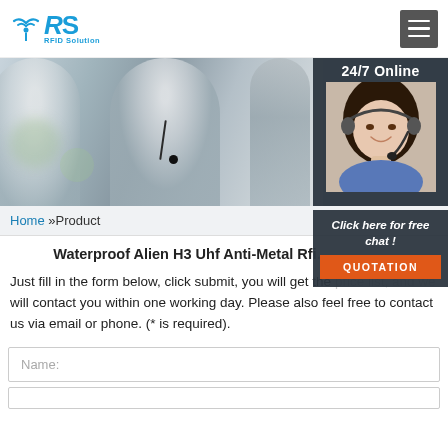RS RFID Solution [logo] | Hamburger menu button
[Figure (photo): Hero banner image showing call center workers with headsets on the left 71% and a 24/7 Online chat widget with female agent photo on the right]
24/7 Online
Click here for free chat !
QUOTATION
Home »Product
Waterproof Alien H3 Uhf Anti-Metal Rfi...
Just fill in the form below, click submit, you will get the price list, and we will contact you within one working day. Please also feel free to contact us via email or phone. (* is required).
Name: